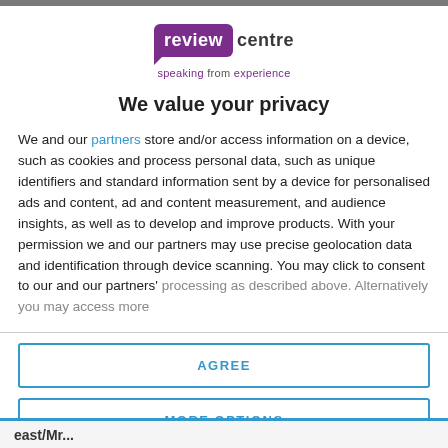[Figure (logo): Review Centre logo with purple speech bubble containing 'review' in white, 'centre' in dark text, and tagline 'speaking from experience' below]
We value your privacy
We and our partners store and/or access information on a device, such as cookies and process personal data, such as unique identifiers and standard information sent by a device for personalised ads and content, ad and content measurement, and audience insights, as well as to develop and improve products. With your permission we and our partners may use precise geolocation data and identification through device scanning. You may click to consent to our and our partners' processing as described above. Alternatively you may access more
AGREE
MORE OPTIONS
east/Mr...